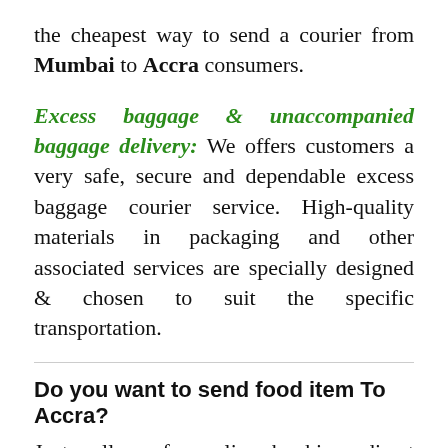the cheapest way to send a courier from Mumbai to Accra consumers.
Excess baggage & unaccompanied baggage delivery: We offers customers a very safe, secure and dependable excess baggage courier service. High-quality materials in packaging and other associated services are specially designed & chosen to suit the specific transportation.
Do you want to send food item To Accra?
Just call us for online booking, direct phone call or send an email. Our ex [WhatsApp now]